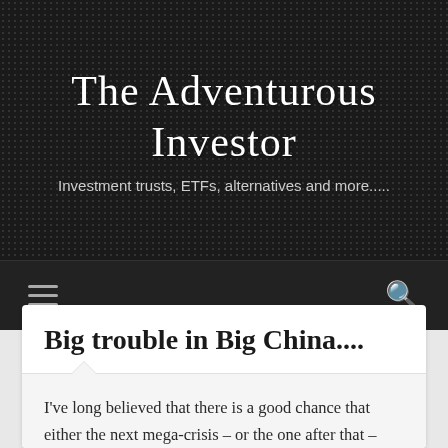The Adventurous Investor
Investment trusts, ETFs, alternatives and more.....
Big trouble in Big China....
I've long believed that there is a good chance that either the next mega-crisis – or the one after that – will start in China. More particularly it will feature a mismatch between hard business realities – some